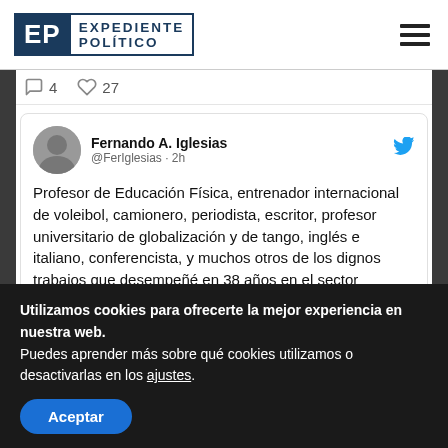EXPEDIENTE POLÍTICO
4  27
Fernando A. Iglesias @FerIglesias · 2h
Profesor de Educación Física, entrenador internacional de voleibol, camionero, periodista, escritor, profesor universitario de globalización y de tango, inglés e italiano, conferencista, y muchos otros de los dignos trabajos que desempeñé en 38 años en el sector privado.
Utilizamos cookies para ofrecerte la mejor experiencia en nuestra web.
Puedes aprender más sobre qué cookies utilizamos o desactivarlas en los ajustes.